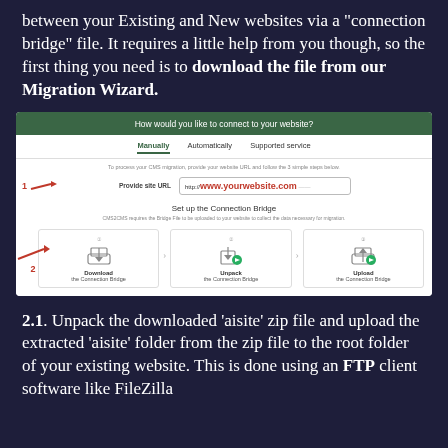between your Existing and New websites via a "connection bridge" file. It requires a little help from you though, so the first thing you need is to download the file from our Migration Wizard.
[Figure (screenshot): Screenshot of CMS2CMS Migration Wizard UI showing 'How would you like to connect to your website?' with tabs: Manually, Automatically, Supported service. Step 1 shows Provide site URL with http://www.yourwebsite.com. Below shows Set up the Connection Bridge with 3 steps: 1 Download, 2 Unpack, 3 Upload the Connection Bridge. Red arrows point to step 1 (URL field) and step 2 (Download box).]
2.1. Unpack the downloaded 'aisite' zip file and upload the extracted 'aisite' folder from the zip file to the root folder of your existing website. This is done using an FTP client software like FileZilla